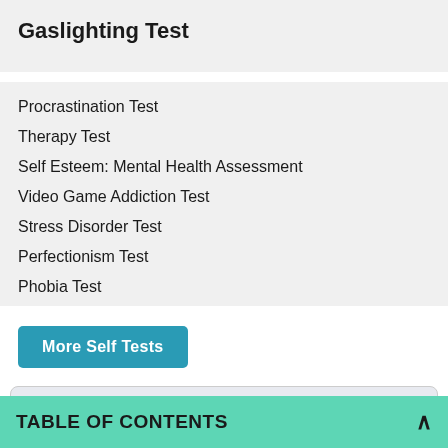Gaslighting Test
Procrastination Test
Therapy Test
Self Esteem: Mental Health Assessment
Video Game Addiction Test
Stress Disorder Test
Perfectionism Test
Phobia Test
More Self Tests
Join Our Newsletter
Name
TABLE OF CONTENTS